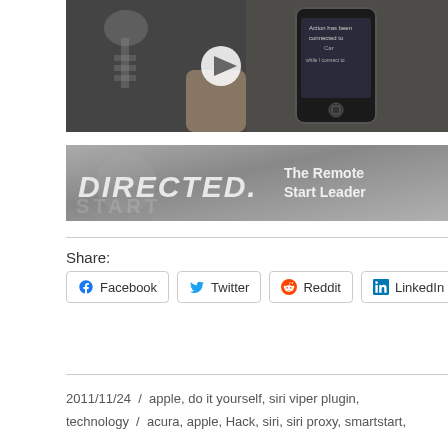[Figure (screenshot): Video thumbnail showing a hand holding car keys and an iPhone with a remote start app. A play button is visible in the center.]
[Figure (photo): DIRECTED. The Remote Start Leader — banner advertisement with silver/grey background and white stylized text.]
Share:
Facebook  Twitter  Reddit  LinkedIn
2011/11/24 / apple, do it yourself, siri viper plugin, technology / acura, apple, Hack, siri, siri proxy, smartstart,